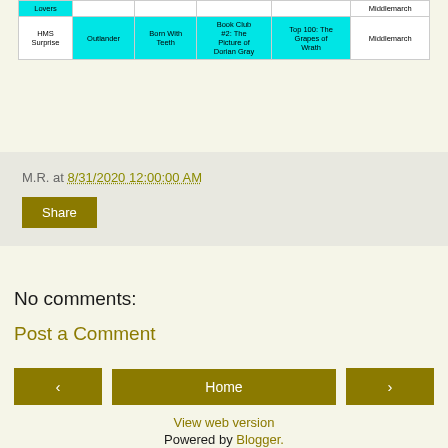| HMS Surprise | Outlander | Born With Teeth | Book Club #2: The Picture of Dorian Gray | Top 100: The Grapes of Wrath | Middlemarch |
| --- | --- | --- | --- | --- | --- |
| Lovers |  |  |  |  | Middlemarch |
| HMS Surprise | Outlander | Born With Teeth | Book Club #2: The Picture of Dorian Gray | Top 100: The Grapes of Wrath | Middlemarch |
M.R. at 8/31/2020 12:00:00 AM
Share
No comments:
Post a Comment
‹
Home
›
View web version
Powered by Blogger.